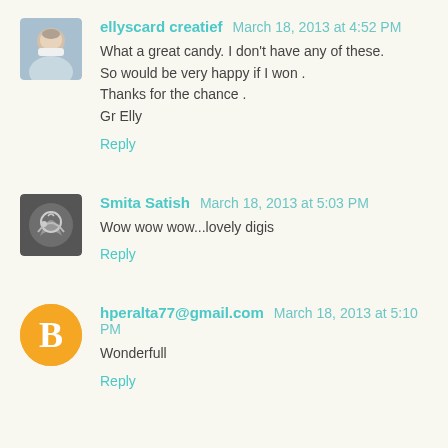[Figure (photo): Avatar photo of ellyscard creatief — elderly woman in white]
ellyscard creatief March 18, 2013 at 4:52 PM
What a great candy. I don't have any of these.
So would be very happy if I won .
Thanks for the chance .
Gr Elly
Reply
[Figure (photo): Avatar sketch/illustration for Smita Satish]
Smita Satish March 18, 2013 at 5:03 PM
Wow wow wow...lovely digis
Reply
[Figure (logo): Blogger 'B' logo in orange circle for hperalta77@gmail.com]
hperalta77@gmail.com March 18, 2013 at 5:10 PM
Wonderfull
Reply